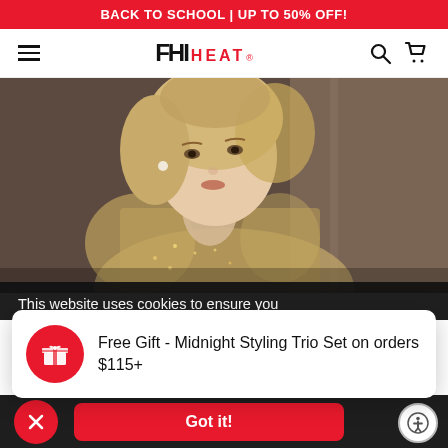BACK TO SCHOOL | UP TO 50% OFF!
[Figure (logo): FHI HEAT logo with hamburger menu, search and cart icons]
[Figure (photo): Blonde woman wearing a sparkly beige dress, close-up portrait photo]
This website uses cookies to ensure you
[Figure (infographic): Free Gift notification card with gift box icon: Free Gift - Midnight Styling Trio Set on orders $115+]
Free Gift - Midnight Styling Trio Set on orders $115+
Got it!